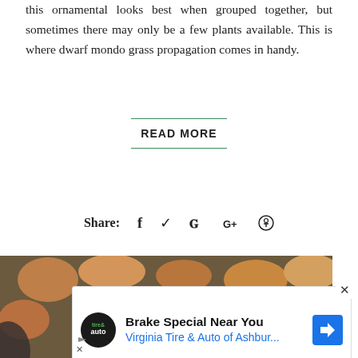this ornamental looks best when grouped together, but sometimes there may only be a few plants available. This is where dwarf mondo grass propagation comes in handy.
READ MORE
Share: f ♥ G+ ®
[Figure (photo): Close-up photograph of a living stone plant (Lithops) with a yellow and white daisy-like flower blooming from the center, surrounded by smooth pebbles and rocks.]
[Figure (screenshot): Advertisement banner: Brake Special Near You - Virginia Tire & Auto of Ashbur... with logo and navigation arrow icon.]